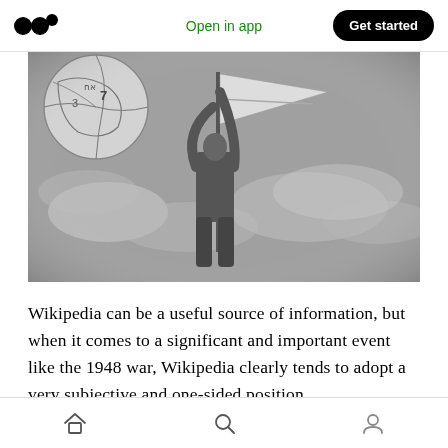Open in app | Get started
[Figure (photo): Black and white photograph of a soldier raising a flag on a pole, with a large globe (Wikipedia logo) visible in the background upper left, against a cloudy sky.]
Wikipedia can be a useful source of information, but when it comes to a significant and important event like the 1948 war, Wikipedia clearly tends to adopt a very subjective and one-sided position.
Home | Search | Profile